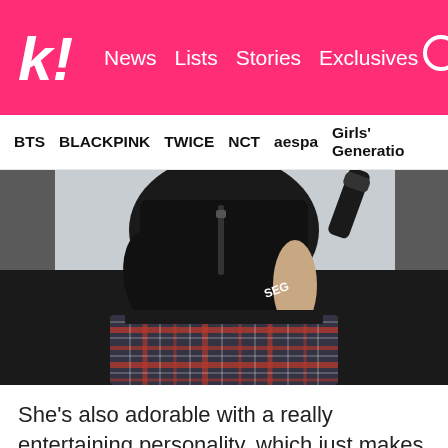koolook! | News  Lists  Stories  Exclusives
BTS  BLACKPINK  TWICE  NCT  aespa  Girls' Generation
[Figure (photo): Close-up photo of a K-pop performer wearing a black top and plaid/tartan trousers, seen from behind/side, holding a microphone, performing on stage.]
She's also adorable with a really entertaining personality, which just makes her even more likeable. If you aren't a fan of her already,